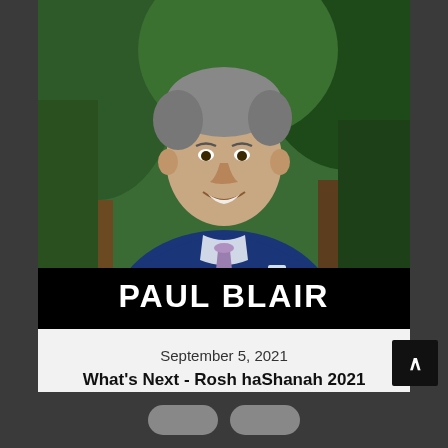[Figure (photo): Portrait photo of Paul Blair, a man in a blue suit and patterned tie, smiling, outdoors with green trees in background]
PAUL BLAIR
September 5, 2021
What's Next - Rosh haShanah 2021
Paul Blair - Pastor